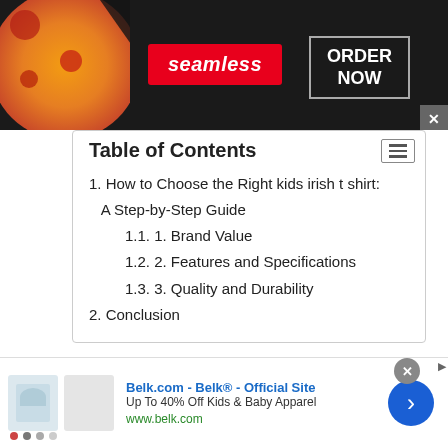[Figure (screenshot): Seamless food delivery advertisement banner with pizza image, red seamless logo, and ORDER NOW button on dark background]
Table of Contents
1. How to Choose the Right kids irish t shirt: A Step-by-Step Guide
1.1. 1. Brand Value
1.2. 2. Features and Specifications
1.3. 3. Quality and Durability
2. Conclusion
How to Choose the Right kids irish t shirt: A Step-
[Figure (screenshot): Belk.com advertisement banner showing kids t-shirts, Belk Official Site text, Up To 40% Off Kids & Baby Apparel, www.belk.com, with navigation arrow button]